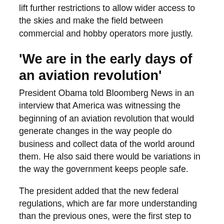lift further restrictions to allow wider access to the skies and make the field between commercial and hobby operators more justly.
'We are in the early days of an aviation revolution'
President Obama told Bloomberg News in an interview that America was witnessing the beginning of an aviation revolution that would generate changes in the way people do business and collect data of the world around them. He also said there would be variations in the way the government keeps people safe.
The president added that the new federal regulations, which are far more understanding than the previous ones, were the first step to represent the innovative thinking that would help grow the economy and improve the lives of the American citizens.